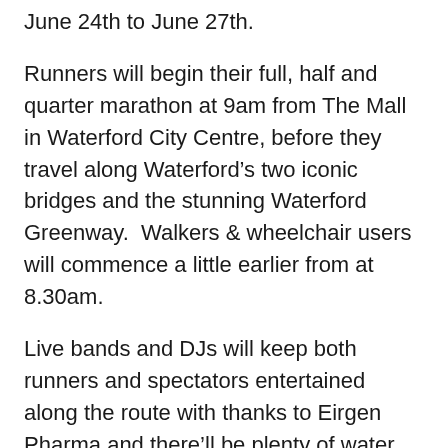June 24th to June 27th.
Runners will begin their full, half and quarter marathon at 9am from The Mall in Waterford City Centre, before they travel along Waterford’s two iconic bridges and the stunning Waterford Greenway.  Walkers & wheelchair users will commence a little earlier from at 8.30am.
Live bands and DJs will keep both runners and spectators entertained along the route with thanks to Eirgen Pharma and there’ll be plenty of water stations to keep runners hydrated kindly sponsored by DG Foods.
The finish line this year is in the centre of the city on Grattan Quay and promises to be great fun for all